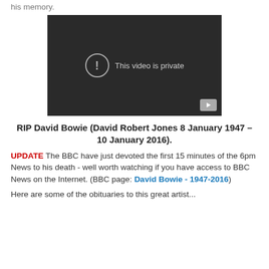his memory.
[Figure (screenshot): Embedded video player showing 'This video is private' message with an exclamation mark icon and a YouTube play button in the bottom right corner. The background is dark/black.]
RIP David Bowie (David Robert Jones 8 January 1947 – 10 January 2016).
UPDATE The BBC have just devoted the first 15 minutes of the 6pm News to his death - well worth watching if you have access to BBC News on the Internet. (BBC page: David Bowie - 1947-2016)
Here are some of the obituaries to this great artist...